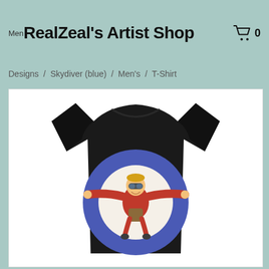Menu  RealZeal's Artist Shop  0
Designs / Skydiver (blue) / Men's / T-Shirt
[Figure (photo): Black t-shirt with a skydiver illustration on a blue target/bullseye circle. The skydiver is a cartoon man in red jacket with goggles, arms spread wide, with a parachute pack on his back, set against a white inner circle surrounded by a blue ring.]